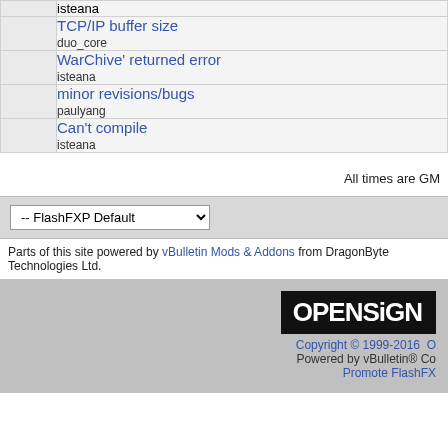|  | isteana |
|  | TCP/IP buffer size
duo_core |
|  | WarChive' returned error
isteana |
|  | minor revisions/bugs
paulyang |
|  | Can't compile
isteana |
All times are GM
-- FlashFXP Default
Parts of this site powered by vBulletin Mods & Addons from DragonByte Technologies Ltd.
[Figure (logo): OpenSign logo in black box with white text]
Copyright © 1999-2016 O
Powered by vBulletin® Co
Promote FlashFX